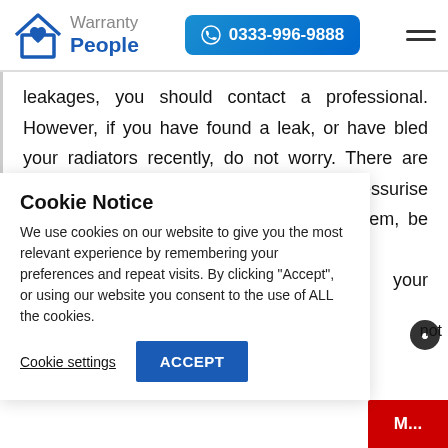[Figure (logo): Warranty People logo with house icon and phone number button 0333-996-9888]
leakages, you should contact a professional. However, if you have found a leak, or have bled your radiators recently, do not worry. There are several easy steps that can help you re-pressurise your system. But before you do follow them, be sure to
your
Cookie Notice
We use cookies on our website to give you the most relevant experience by remembering your preferences and repeat visits. By clicking “Accept”, or using our website you consent to the use of ALL the cookies.
Cookie settings   ACCEPT
not
M...